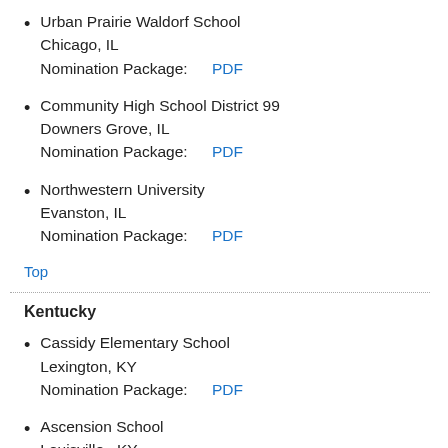Urban Prairie Waldorf School
Chicago, IL
Nomination Package: PDF
Community High School District 99
Downers Grove, IL
Nomination Package: PDF
Northwestern University
Evanston, IL
Nomination Package: PDF
Top
Kentucky
Cassidy Elementary School
Lexington, KY
Nomination Package: PDF
Ascension School
Louisville,, KY
Nomination Package: PDF